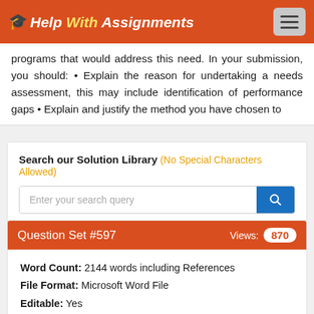Help with Assignments
programs that would address this need. In your submission, you should: • Explain the reason for undertaking a needs assessment, this may include identification of performance gaps • Explain and justify the method you have chosen to
Search our Solution Library (No Special Characters Allowed)
Enter your search query
Question Set #597
Views: 870
Word Count: 2144 words including References
File Format: Microsoft Word File
Editable: Yes
Attachment: Click here to download